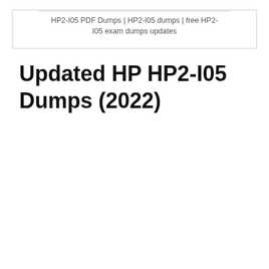HP2-I05 PDF Dumps | HP2-I05 dumps | free HP2-I05 exam dumps updates
Updated HP HP2-I05 Dumps (2022)